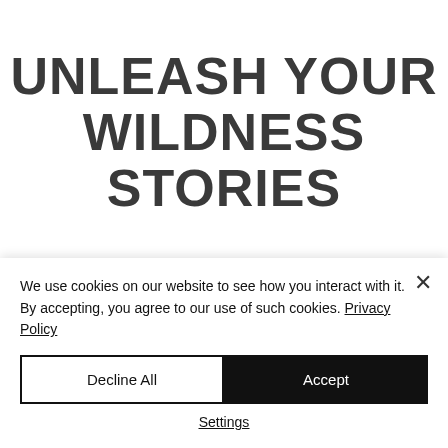UNLEASH YOUR WILDNESS STORIES
Let the stories inspire you and awaken
We use cookies on our website to see how you interact with it. By accepting, you agree to our use of such cookies. Privacy Policy
Decline All
Accept
Settings